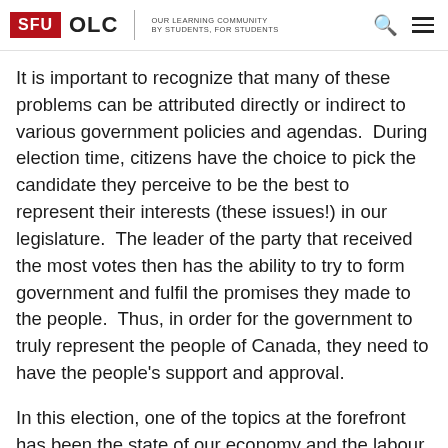SFU OLC | OUR LEARNING COMMUNITY BY STUDENTS, FOR STUDENTS
It is important to recognize that many of these problems can be attributed directly or indirect to various government policies and agendas.  During election time, citizens have the choice to pick the candidate they perceive to be the best to represent their interests (these issues!) in our legislature.  The leader of the party that received the most votes then has the ability to try to form government and fulfil the promises they made to the people.  Thus, in order for the government to truly represent the people of Canada, they need to have the people's support and approval.
In this election, one of the topics at the forefront has been the state of our economy and the labour market